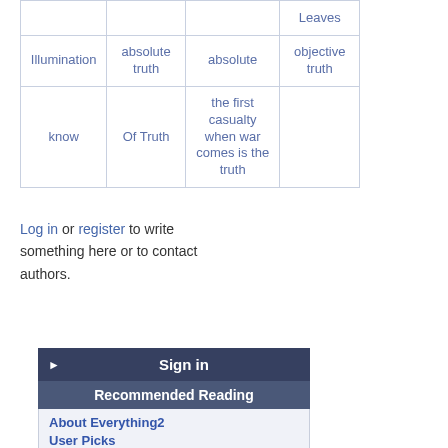|  |  |  | Leaves |
| --- | --- | --- | --- |
| Illumination | absolute truth | absolute | objective truth |
| know | Of Truth | the first casualty when war comes is the truth |  |
Log in or register to write something here or to contact authors.
Sign in
Recommended Reading
About Everything2
User Picks
right outside the front door, where in January snowdrops will bloom
A34/Bless yourself
The Sandman
Not Like a Rainbow
Preludes and Nocturnes
The Kingdom of Loathing
Editor Picks
What doesn't kill you can only fuck you up